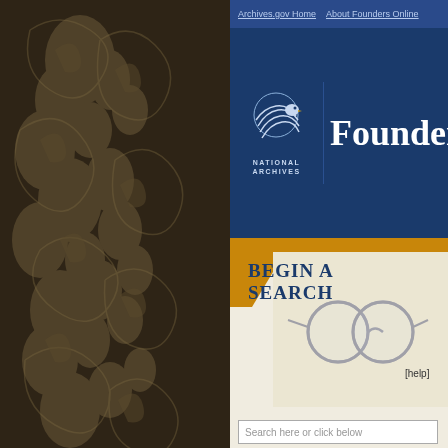[Figure (screenshot): National Archives Founders Online website screenshot showing navigation, logo, Begin a Search panel with decorative spectacles image, Author filter panel, and search results list]
Archives.gov Home   About Founders Online
Founders Online
BEGIN A SEARCH
[help]
AUTHOR
Search here or click below
Sort: Frequency / Alphabetical
(27)
[...], J. C. (1)
"A." (1)
"A. B." (3)
Abadie, —— d' (1)
Abbema, Balthasar Elias (2)
NEW SEAR...
Results 1-50
1  American...
This certifies
2  [James M...
Richmond ma
3  Private no...
"Nefas videri
4  A...